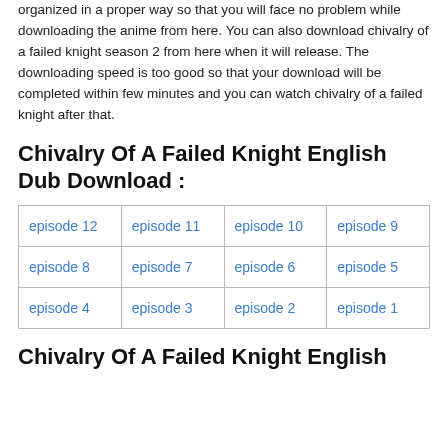organized in a proper way so that you will face no problem while downloading the anime from here. You can also download chivalry of a failed knight season 2 from here when it will release. The downloading speed is too good so that your download will be completed within few minutes and you can watch chivalry of a failed knight after that.
Chivalry Of A Failed Knight English Dub Download :
| episode 12 | episode 11 | episode 10 | episode 9 |
| episode 8 | episode 7 | episode 6 | episode 5 |
| episode 4 | episode 3 | episode 2 | episode 1 |
Chivalry Of A Failed Knight English